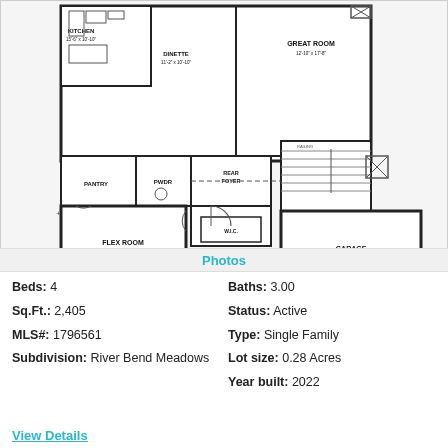[Figure (engineering-diagram): Floor plan of a single-family home showing Kitchen, Dinette, Great Room, Pantry, Pwdr, Rear Foyer, Foyer, Flex Room, W.I.C., Covered Porch, and Garage]
Photos
Beds: 4
Baths: 3.00
Sq.Ft.: 2,405
Status: Active
MLS#: 1796561
Type: Single Family
Subdivision: River Bend Meadows
Lot size: 0.28 Acres
Year built: 2022
View Details